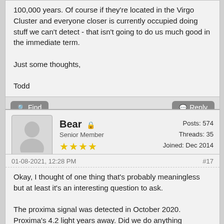100,000 years. Of course if they're located in the Virgo Cluster and everyone closer is currently occupied doing stuff we can't detect - that isn't going to do us much good in the immediate term.

Just some thoughts,

Todd
Bear  Senior Member  Posts: 574  Threads: 35  Joined: Dec 2014
01-08-2021, 12:28 PM  #17
Okay, I thought of one thing that's probably meaningless but at least it's an interesting question to ask.

The proxima signal was detected in October 2020. Proxima's 4.2 light years away. Did we do anything